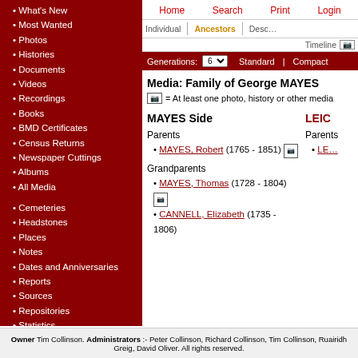What's New
Most Wanted
Photos
Histories
Documents
Videos
Recordings
Books
BMD Certificates
Census Returns
Newspaper Cuttings
Albums
All Media
Cemeteries
Headstones
Places
Notes
Dates and Anniversaries
Reports
Sources
Repositories
Statistics
Change Language
Bookmarks
Contact Us
Register for a User Account
Home  Search  Print  Login  |  Individual  |  Ancestors  |  Desc...  |  Timeline  |  Generations: 6  Standard  |  Compact
Media: Family of George MAYES
= At least one photo, history or other media
MAYES Side
LEIC...
Parents
MAYES, Robert (1765 - 1851)
Parents
Grandparents
MAYES, Thomas (1728 - 1804)
CANNELL, Elizabeth (1735 - 1806)
Owner Tim Collinson. Administrators :- Peter Collinson, Richard Collinson, Tim Collinson, Ruairidh Greig, David Oliver. All rights reserved.